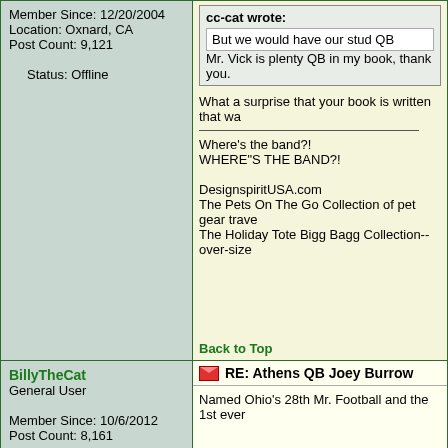Member Since: 12/20/2004
Location: Oxnard, CA
Post Count: 9,121
Status: Offline
Back to Top
cc-cat wrote:
But we would have our stud QB
Mr. Vick is plenty QB in my book, thank you.
What a surprise that your book is written that wa
Where's the band?!
WHERE"S THE BAND?!
DesignspiritUSA.com
The Pets On The Go Collection of pet gear trave
The Holiday Tote Bigg Bagg Collection--over-size
Back to Top
BillyTheCat
General User
Member Since: 10/6/2012
Post Count: 8,161
Status: Offline
Back to Top
RE: Athens QB Joey Burrow
Named Ohio's 28th Mr. Football and the 1st ever